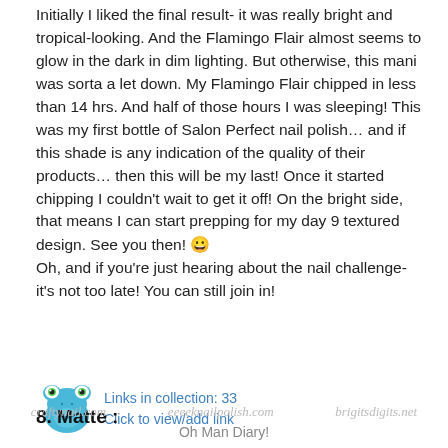Initially I liked the final result- it was really bright and tropical-looking.  And the Flamingo Flair almost seems to glow in the dark in dim lighting.  But otherwise, this mani was sorta a let down.  My Flamingo Flair chipped in less than 14 hrs. And half of those hours I was sleeping!   This was my first bottle of Salon Perfect nail polish… and if this shade is any indication of the quality of their products… then this will be my last!  Once it started chipping I couldn't wait to get it off!  On the bright side, that means I can start prepping for my day 9 textured design.  See you then!  😀  Oh, and if you're just hearing about the nail challenge- it's not too late!  You can still join in!
[Figure (illustration): Cartoon frog icon (blue/teal frog with big eyes and smile)]
Links in collection: 33
Click to view/add link
8. Matte :
craftynail.com    eeeeknailpolish.com    brigitsdigits.net
Oh Man Diary!